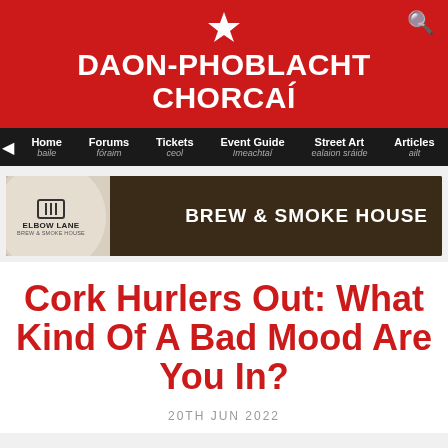DAON-PHOBLACHT CHORCAÍ
[Figure (screenshot): Navigation bar with Home/baile, Forums/fóraim, Tickets/ceol, Event Guide/Imeachtaí, Street Art/ealaion sráide, Articles/ailt]
[Figure (photo): Elbow Lane Brew & Smoke House advertisement banner with circular logo on left and text BREW & SMOKE HOUSE on right over dark bar background]
Cork Hurlers Out: What Kind Of A Bad Mood Are You In?
20TH JUN 2022